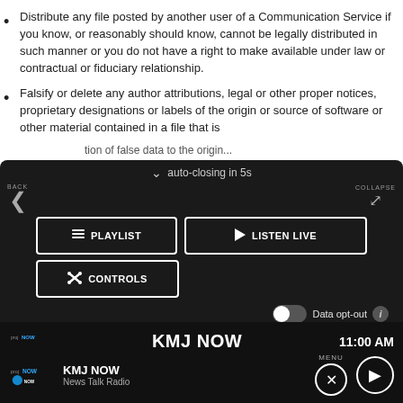Distribute any file posted by another user of a Communication Serv... reasonably should know, cannot be legally distributed in such mann... right to make available under law or contractual or fiduciary relation...
Falsify or delete any author attributions, legal or other proper notice... or labels of the origin or source of software or other material contain...
[Figure (screenshot): A dark-themed media player overlay UI showing: 'auto-closing in 5s' at top, BACK and COLLAPSE navigation, PLAYLIST and LISTEN LIVE buttons, CONTROLS button, a Data opt-out toggle, an ad placeholder, and a bottom bar showing KMJ NOW station with 11:00 AM time, logo, News Talk Radio subtitle, MENU label with X and play controls.]